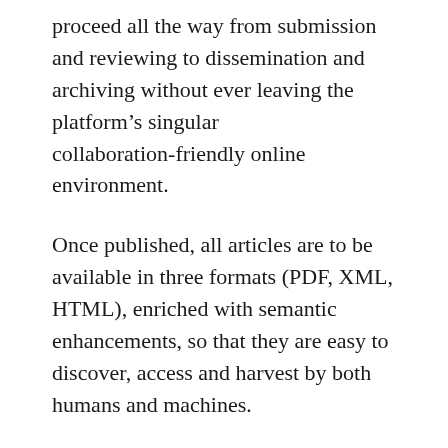proceed all the way from submission and reviewing to dissemination and archiving without ever leaving the platform's singular collaboration-friendly online environment.
Once published, all articles are to be available in three formats (PDF, XML, HTML), enriched with semantic enhancements, so that they are easy to discover, access and harvest by both humans and machines.
To further enhance discoverability and reusability of the findings published in the journal, its content is to be indexed by major interdisciplinary services CrossRef and DOAJ in addition to the economics-specialized